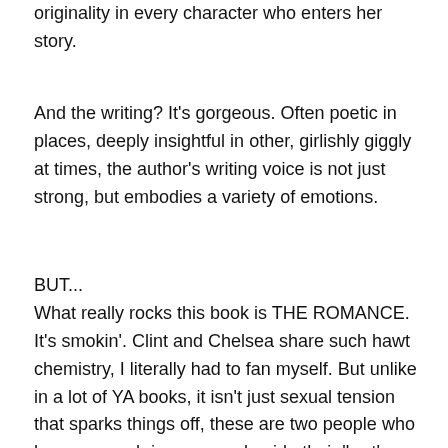originality in every character who enters her story.
And the writing? It's gorgeous. Often poetic in places, deeply insightful in other, girlishly giggly at times, the author's writing voice is not just strong, but embodies a variety of emotions.
BUT...
What really rocks this book is THE ROMANCE. It's smokin'. Clint and Chelsea share such hawt chemistry, I literally had to fan myself. But unlike in a lot of YA books, it isn't just sexual tension that sparks things off, these are two people who have so much in common beside their 'hurt' pasts that if they were pieces of a